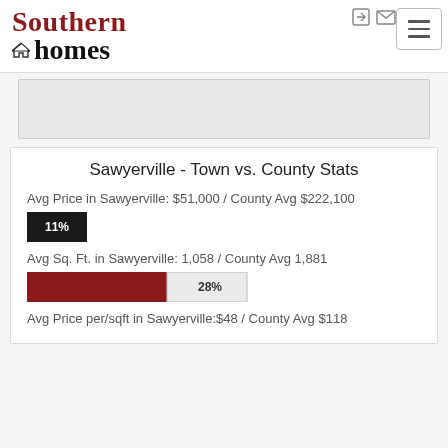[Figure (logo): Southern Homes company logo with house icon]
Sawyerville - Town vs. County Stats
Avg Price in Sawyerville: $51,000 / County Avg $222,100
[Figure (bar-chart): Avg Price comparison]
Avg Sq. Ft. in Sawyerville: 1,058 / County Avg 1,881
[Figure (bar-chart): Avg Sq Ft comparison]
Avg Price per/sqft in Sawyerville:$48 / County Avg $118